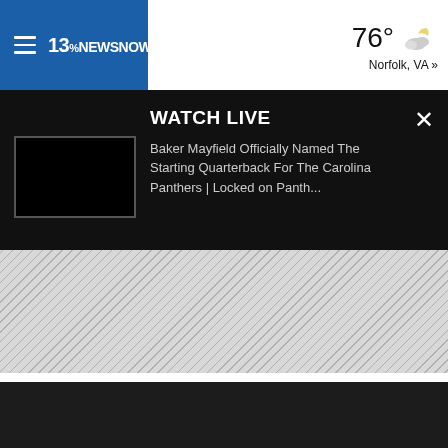13NewsNow — 76° Norfolk, VA »
WATCH LIVE
Baker Mayfield Officially Named The Starting Quarterback For The Carolina Panthers | Locked on Panth...
[Figure (screenshot): Black video thumbnail placeholder]
[Figure (other): Diagonal gray stripe pattern area]
[Figure (other): Dark background footer area]